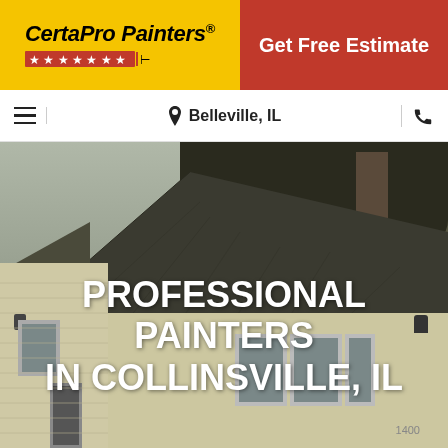[Figure (logo): CertaPro Painters logo with yellow background, brand name in bold italic black text with registered trademark symbol, red stars row below, and paint brush icon]
Get Free Estimate
Belleville, IL
[Figure (photo): Exterior photo of a residential house with light yellow/cream siding, dark asphalt shingle roof, trees in background, with overlaid text PROFESSIONAL PAINTERS IN COLLINSVILLE, IL]
PROFESSIONAL PAINTERS IN COLLINSVILLE, IL